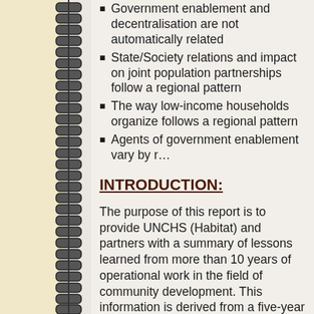Government enablement and decentralisation are not automatically related
State/Society relations and impact on joint population partnerships follow a regional pattern
The way low-income households organize follows a regional pattern
Agents of government enablement vary by region
INTRODUCTION:
The purpose of this report is to provide UNCHS (Habitat) and partners with a summary of lessons learned from more than 10 years of operational work in the field of community development. This information is derived from a five-year Evaluation Research (